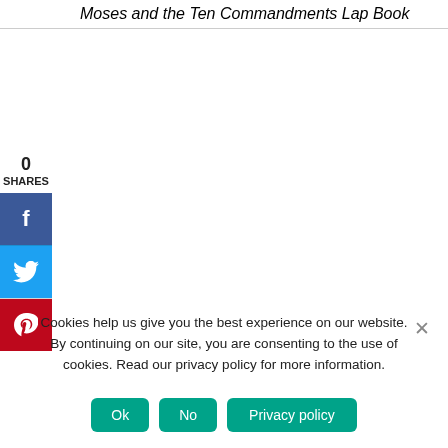Moses and the Ten Commandments Lap Book
0
SHARES
[Figure (infographic): Social sharing widget with Facebook (blue), Twitter (blue), and Pinterest (red) buttons each showing a white icon]
Cookies help us give you the best experience on our website. By continuing on our site, you are consenting to the use of cookies. Read our privacy policy for more information.
Ok  No  Privacy policy